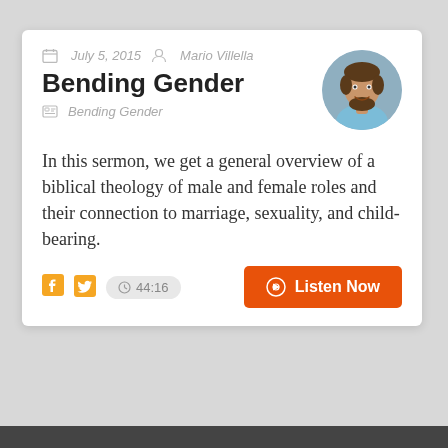July 5, 2015   Mario Villella
Bending Gender
Bending Gender
In this sermon, we get a general overview of a biblical theology of male and female roles and their connection to marriage, sexuality, and child-bearing.
44:16
Listen Now